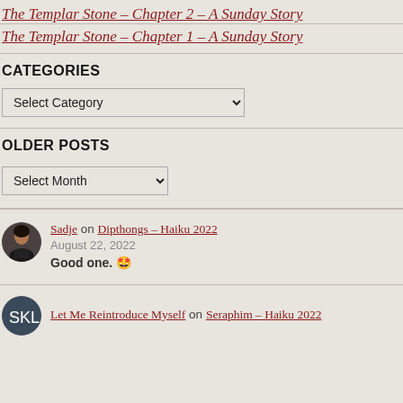The Templar Stone – Chapter 2 – A Sunday Story
The Templar Stone – Chapter 1 – A Sunday Story
CATEGORIES
Select Category (dropdown)
OLDER POSTS
Select Month (dropdown)
Sadje on Dipthongs – Haiku 2022
August 22, 2022
Good one. 🤩
Let Me Reintroduce Myself on Seraphim – Haiku 2022